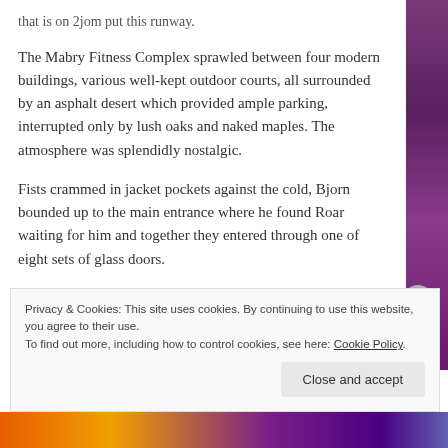that is on 2jom put this runway.
The Mabry Fitness Complex sprawled between four modern buildings, various well-kept outdoor courts, all surrounded by an asphalt desert which provided ample parking, interrupted only by lush oaks and naked maples. The atmosphere was splendidly nostalgic.
Fists crammed in jacket pockets against the cold, Bjorn bounded up to the main entrance where he found Roar waiting for him and together they entered through one of eight sets of glass doors.
Inside, a silvery sweeping reception area stretched
Privacy & Cookies: This site uses cookies. By continuing to use this website, you agree to their use.
To find out more, including how to control cookies, see here: Cookie Policy
Close and accept